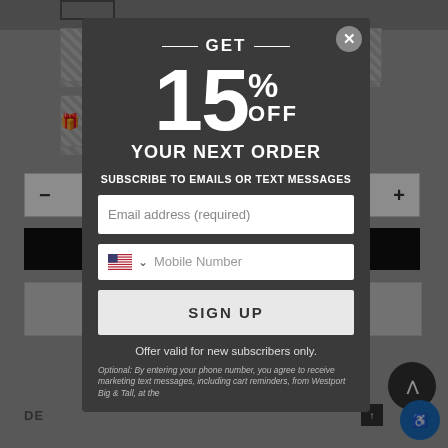[Figure (screenshot): E-commerce website background showing quantity selector, add to cart button, and navigation elements, partially obscured by a modal overlay]
GET 15% OFF YOUR NEXT ORDER
SUBSCRIBE TO EMAILS OR TEXT MESSAGES
Email address (required)
Mobile Number
SIGN UP
Offer valid for new subscribers only.
Optional: By entering your phone number, you agree to receive marketing text messages, including cart reminders, from Westport Big & Tall, at the